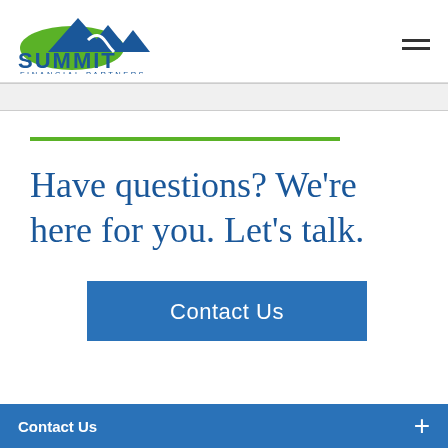[Figure (logo): Summit Financial Partners logo with green and blue mountain graphic above the text 'SUMMIT FINANCIAL PARTNERS']
Have questions? We're here for you. Let's talk.
Contact Us
Contact Us +